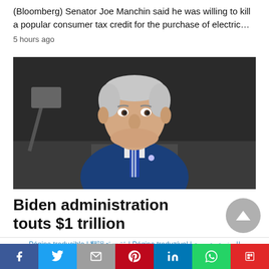(Bloomberg) Senator Joe Manchin said he was willing to kill a popular consumer tax credit for the purchase of electric…
5 hours ago
[Figure (photo): Photo of President Joe Biden in a blue suit and striped tie speaking at a podium with microphones, against a dark background]
Biden administration touts $1 trillion
Página traducible | 翻訳ページ | Página traduzível | الصفحة مترجمة
Social share bar with Facebook, Twitter, Email, Pinterest, LinkedIn, WhatsApp, Flipboard